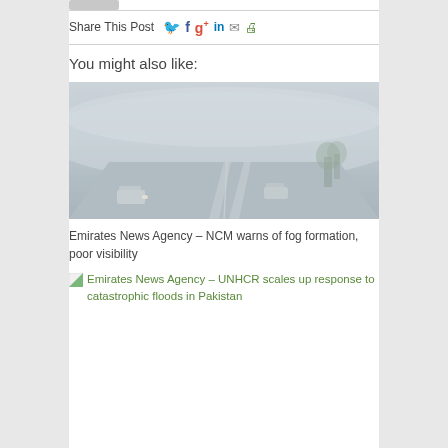Share This Post
You might also like:
[Figure (photo): Foggy highway road with very low visibility, cars barely visible through dense fog]
Emirates News Agency – NCM warns of fog formation, poor visibility
Emirates News Agency – UNHCR scales up response to catastrophic floods in Pakistan